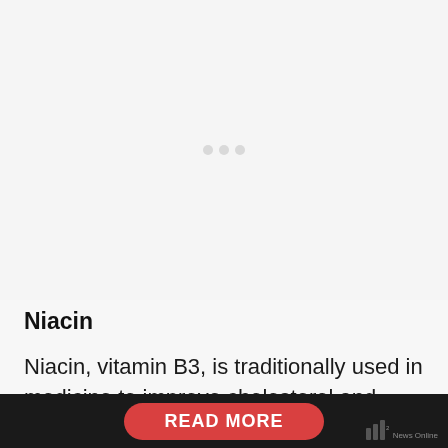[Figure (other): Large empty/loading area with three faint dots in the center, representing a placeholder or loading image area]
Niacin
Niacin, vitamin B3, is traditionally used in medicine to improve cholesterol and triglycerides. It is not known for its role in weight-loss.
[Figure (other): Dark bottom bar with a red rounded READ MORE button and a small logo/watermark on the right]